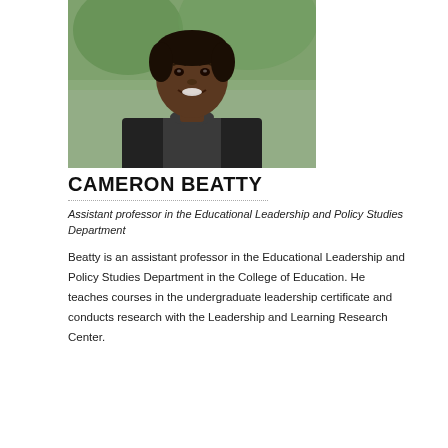[Figure (photo): Headshot portrait of Cameron Beatty, a young man wearing a black blazer and patterned dark shirt, smiling, with trees/foliage in the background.]
CAMERON BEATTY
Assistant professor in the Educational Leadership and Policy Studies Department
Beatty is an assistant professor in the Educational Leadership and Policy Studies Department in the College of Education. He teaches courses in the undergraduate leadership certificate and conducts research with the Leadership and Learning Research Center.